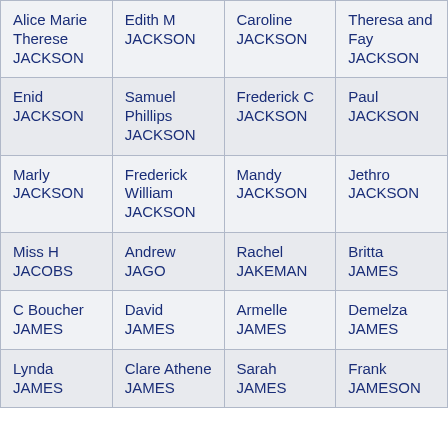| Alice Marie Therese JACKSON | Edith M JACKSON | Caroline JACKSON | Theresa and Fay JACKSON |
| Enid JACKSON | Samuel Phillips JACKSON | Frederick C JACKSON | Paul JACKSON |
| Marly JACKSON | Frederick William JACKSON | Mandy JACKSON | Jethro JACKSON |
| Miss H JACOBS | Andrew JAGO | Rachel JAKEMAN | Britta JAMES |
| C Boucher JAMES | David JAMES | Armelle JAMES | Demelza JAMES |
| Lynda JAMES | Clare Athene JAMES | Sarah JAMES | Frank JAMESON |